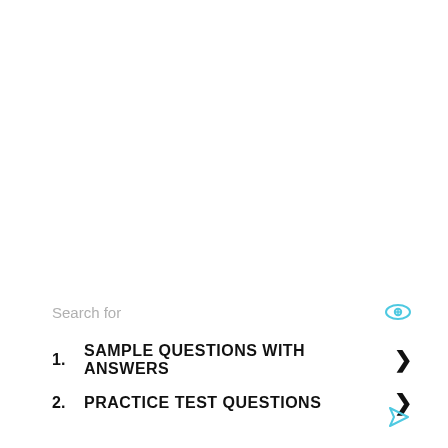Search for
1. SAMPLE QUESTIONS WITH ANSWERS
2. PRACTICE TEST QUESTIONS